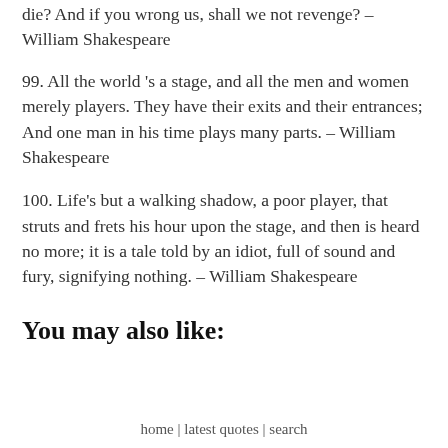die? And if you wrong us, shall we not revenge? – William Shakespeare
99. All the world 's a stage, and all the men and women merely players. They have their exits and their entrances; And one man in his time plays many parts. – William Shakespeare
100. Life's but a walking shadow, a poor player, that struts and frets his hour upon the stage, and then is heard no more; it is a tale told by an idiot, full of sound and fury, signifying nothing. – William Shakespeare
You may also like:
home | latest quotes | search